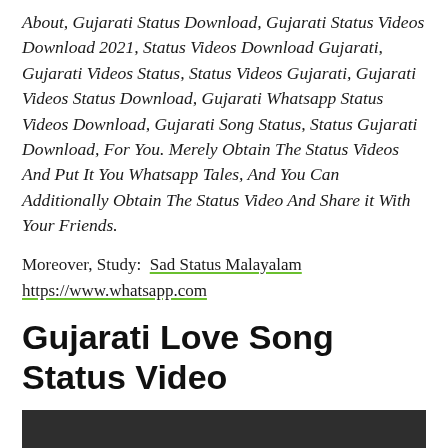About, Gujarati Status Download, Gujarati Status Videos Download 2021, Status Videos Download Gujarati, Gujarati Videos Status, Status Videos Gujarati, Gujarati Videos Status Download, Gujarati Whatsapp Status Videos Download, Gujarati Song Status, Status Gujarati Download, For You. Merely Obtain The Status Videos And Put It You Whatsapp Tales, And You Can Additionally Obtain The Status Video And Share it With Your Friends.
Moreover, Study:  Sad Status Malayalam https://www.whatsapp.com
Gujarati Love Song Status Video
[Figure (other): Dark gray/black video thumbnail rectangle at the bottom of the page]